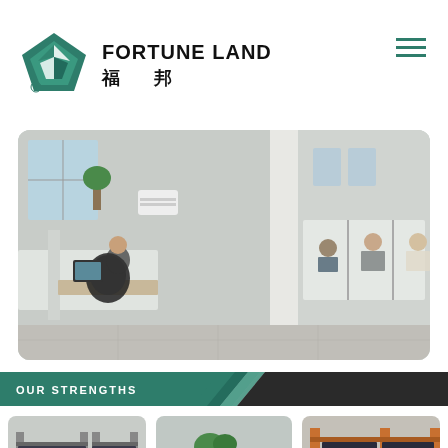[Figure (logo): Fortune Land (福邦) company logo: green pentagonal badge with stylized leaf/arrow design and registered trademark symbol]
FORTUNE LAND 福 邦
[Figure (photo): Office interior showing employees at workstations with cubicle dividers, two scenes side by side]
OUR STRENGTHS
[Figure (photo): Three factory/warehouse photos showing shelving units with products, manufacturing floor with industrial shelving and dark-colored packaged goods]
[Figure (photo): Bottom strip of additional factory/workshop photos partially visible]